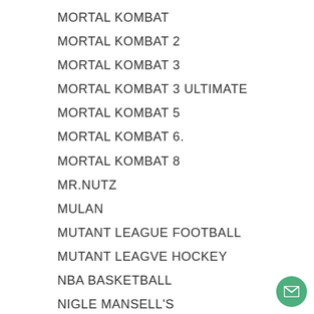MORTAL KOMBAT
MORTAL KOMBAT 2
MORTAL KOMBAT 3
MORTAL KOMBAT 3 ULTIMATE
MORTAL KOMBAT 5
MORTAL KOMBAT 6.
MORTAL KOMBAT 8
MR.NUTZ
MULAN
MUTANT LEAGUE FOOTBALL
MUTANT LEAGVE HOCKEY
NBA BASKETBALL
NIGLE MANSELL'S
NINJA TURTLE RETURN
NO ESCAPE